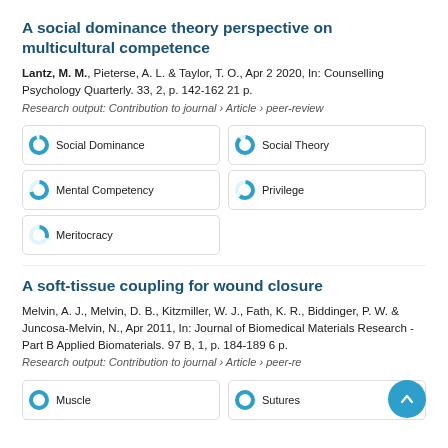A social dominance theory perspective on multicultural competence
Lantz, M. M., Pieterse, A. L. & Taylor, T. O., Apr 2 2020, In: Counselling Psychology Quarterly. 33, 2, p. 142-162 21 p.
Research output: Contribution to journal › Article › peer-review
Social Dominance
Social Theory
Mental Competency
Privilege
Meritocracy
A soft-tissue coupling for wound closure
Melvin, A. J., Melvin, D. B., Kitzmiller, W. J., Fath, K. R., Biddinger, P. W. & Juncosa-Melvin, N., Apr 2011, In: Journal of Biomedical Materials Research - Part B Applied Biomaterials. 97 B, 1, p. 184-189 6 p.
Research output: Contribution to journal › Article › peer-review
Muscle
Sutures